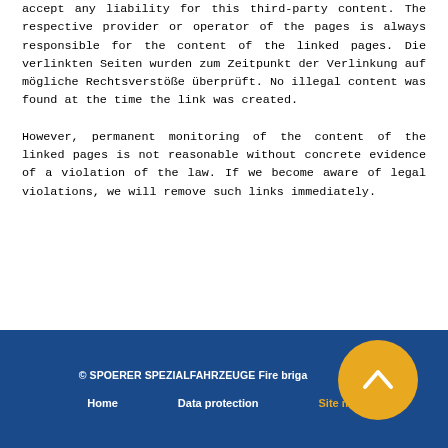accept any liability for this third-party content. The respective provider or operator of the pages is always responsible for the content of the linked pages. Die verlinkten Seiten wurden zum Zeitpunkt der Verlinkung auf mögliche Rechtsverstöße überprüft. No illegal content was found at the time the link was created.
However, permanent monitoring of the content of the linked pages is not reasonable without concrete evidence of a violation of the law. If we become aware of legal violations, we will remove such links immediately.
© SPOERER SPEZIALFAHRZEUGE Fire brigade ... more   Home   Data protection   Site m...